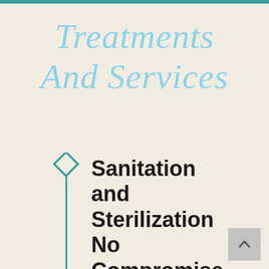Treatments And Services
Sanitation and Sterilization No Compromise at Holistic Spa